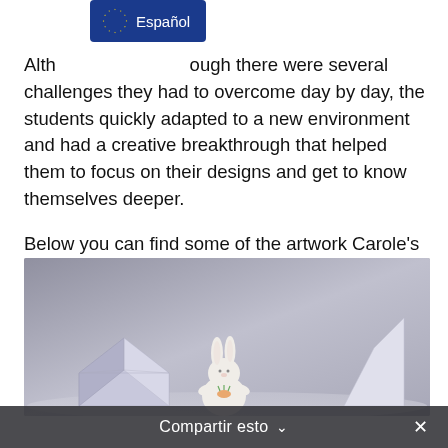[Figure (infographic): Language selector button overlay showing EU flag circle and 'Español' text on dark blue background]
Although there were several challenges they had to overcome day by day, the students quickly adapted to a new environment and had a creative breakthrough that helped them to focus on their designs and get to know themselves deeper.

Below you can find some of the artwork Carole's class created during the lockdown, while studying from home:
[Figure (photo): Photograph of student artwork created during lockdown: a clay bunny figurine holding a carrot in the center, an origami folded paper cube on the left, and a white paper sailboat/pyramid shape on the right, all on a grey surface.]
Compartir esto ∨   ×